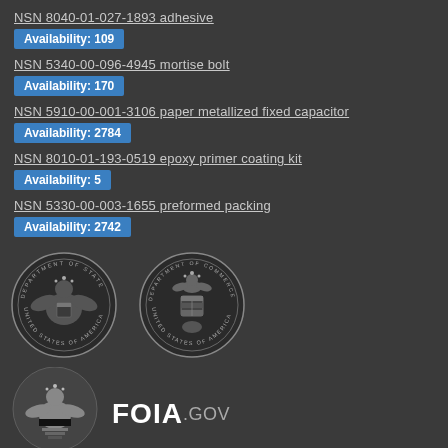NSN 8040-01-027-1893 adhesive
Availability: 109
NSN 5340-00-096-4945 mortise bolt
Availability: 170
NSN 5910-00-001-3106 paper metallized fixed capacitor
Availability: 2784
NSN 8010-01-193-0519 epoxy primer coating kit
Availability: 5
NSN 5330-00-003-1655 preformed packing
Availability: 2742
[Figure (logo): Department of State seal - United States of America]
[Figure (logo): Department of Commerce seal - United States of America]
[Figure (logo): FOIA.GOV logo with eagle emblem]